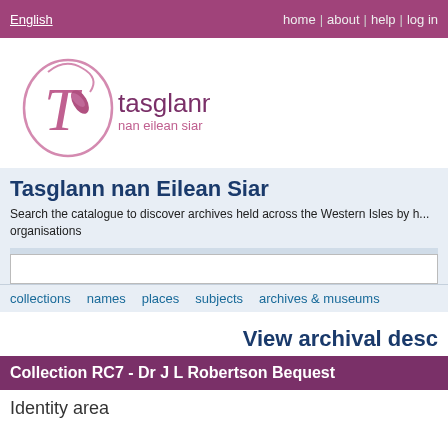English | home | about | help | log in
[Figure (logo): Tasglann nan Eilean Siar logo with stylized T and floral motif in pink/mauve, text 'tasglann nan eilean siar']
Tasglann nan Eilean Siar
Search the catalogue to discover archives held across the Western Isles by h... organisations
collections   names   places   subjects   archives & museums
View archival desc
Collection RC7 - Dr J L Robertson Bequest
Identity area